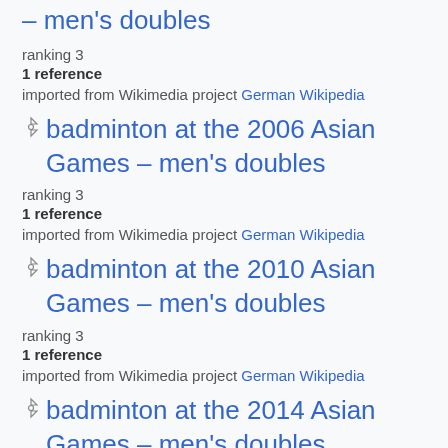– men's doubles
ranking 3
1 reference
imported from Wikimedia project German Wikipedia
badminton at the 2006 Asian Games – men's doubles
ranking 3
1 reference
imported from Wikimedia project German Wikipedia
badminton at the 2010 Asian Games – men's doubles
ranking 3
1 reference
imported from Wikimedia project German Wikipedia
badminton at the 2014 Asian Games – men's doubles